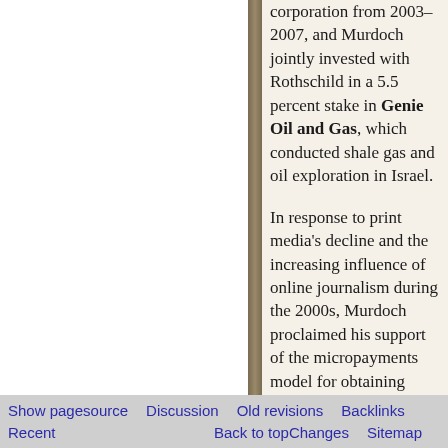corporation from 2003–2007, and Murdoch jointly invested with Rothschild in a 5.5 percent stake in Genie Oil and Gas, which conducted shale gas and oil exploration in Israel.
In response to print media's decline and the increasing influence of online journalism during the 2000s, Murdoch proclaimed his support of the micropayments model for obtaining revenue from on-line news, although this has been criticised by some. News Corporation has subsidiaries in the
Show pagesource   Discussion   Old revisions   Backlinks   Recent   Back to top   Changes   Sitemap